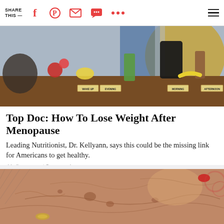SHARE THIS — [social icons: Facebook, Pinterest, Email, Chat, More, Menu]
[Figure (photo): A table display with food items and drinks arranged by time of day, with label signs reading WAKE UP, MORNING, AFTERNOON, and EVENING]
Top Doc: How To Lose Weight After Menopause
Leading Nutritionist, Dr. Kellyann, says this could be the missing link for Americans to get healthy.
drkellyann.com | Sponsored
[Figure (photo): Close-up photograph of an elderly person's wrinkled hands and skin, with visible age spots and a gold ring]